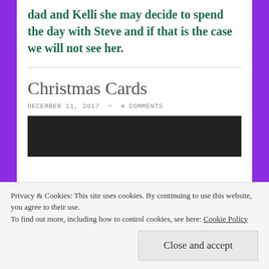dad and Kelli she may decide to spend the day with Steve and if that is the case we will not see her.
Christmas Cards
DECEMBER 11, 2017  ~  4 COMMENTS
[Figure (photo): Dark photograph, partially visible at bottom of page]
Privacy & Cookies: This site uses cookies. By continuing to use this website, you agree to their use.
To find out more, including how to control cookies, see here: Cookie Policy
Close and accept